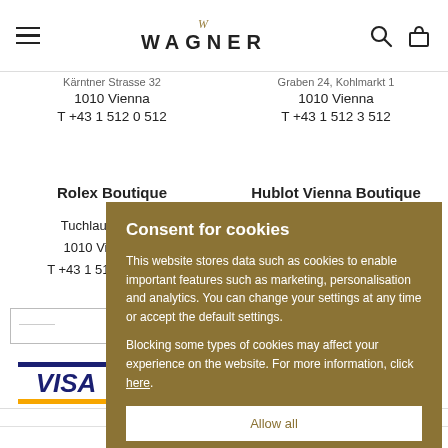WAGNER (logo with hamburger menu, search and cart icons)
Kärntner Strasse 32
1010 Vienna
T +43 1 512 0 512
Graben 24, Kohlmarkt 1
1010 Vienna
T +43 1 512 3 512
Rolex Boutique
Hublot Vienna Boutique
Tuchlauben 2
1010 Vienna
T +43 1 512 3 512
[Figure (screenshot): Consent for cookies modal overlay with golden/brown background. Title: 'Consent for cookies'. Body: 'This website stores data such as cookies to enable important features such as marketing, personalisation and analytics. You can change your settings at any time or accept the default settings. Blocking some types of cookies may affect your experience on the website. For more information, click here.' Buttons: 'Allow all', 'Allow technical', link 'Cookie settings'.]
[Figure (logo): VISA logo - blue text with blue and yellow underlines]
Uhren Schmuck Mode MM